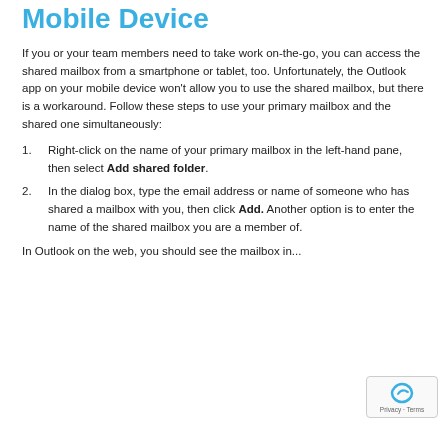Mobile Device
If you or your team members need to take work on-the-go, you can access the shared mailbox from a smartphone or tablet, too. Unfortunately, the Outlook app on your mobile device won't allow you to use the shared mailbox, but there is a workaround. Follow these steps to use your primary mailbox and the shared one simultaneously:
Right-click on the name of your primary mailbox in the left-hand pane, then select Add shared folder.
In the dialog box, type the email address or name of someone who has shared a mailbox with you, then click Add. Another option is to enter the name of the shared mailbox you are a member of.
In Outlook on the web, you should see the mailbox in...